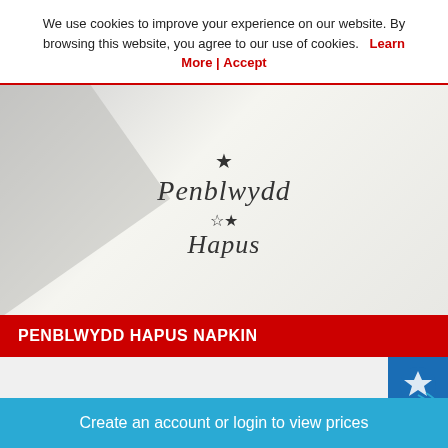We use cookies to improve your experience on our website. By browsing this website, you agree to our use of cookies. Learn More | Accept
[Figure (photo): Close-up photo of a white napkin or card with decorative cursive text reading 'Penblwydd Hapus' with star decorations, resembling a Welsh Happy Birthday greeting on stationery.]
PENBLWYDD HAPUS NAPKIN
[Figure (photo): Partial view of another product below, with a blue badge/logo icon visible in the top right corner.]
Create an account or login to view prices